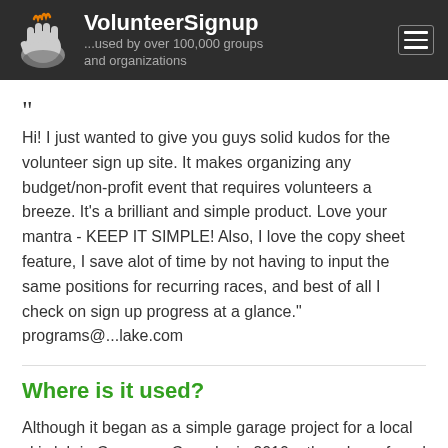VolunteerSignup ...used by over 100,000 groups and organizations
" Hi! I just wanted to give you guys solid kudos for the volunteer sign up site. It makes organizing any budget/non-profit event that requires volunteers a breeze. It's a brilliant and simple product. Love your mantra - KEEP IT SIMPLE! Also, I love the copy sheet feature, I save alot of time by not having to input the same positions for recurring races, and best of all I check on sign up progress at a glance." programs@...lake.com
Where is it used?
Although it began as a simple garage project for a local ski club in Canmore, Canada, in 2010, others have found